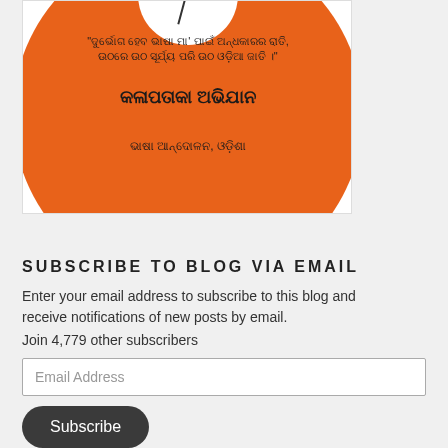[Figure (illustration): An orange circle (like a badge/button) with Odia script text. The top portion shows a white circle with a needle. The main text reads in Odia script with lines about language movement in Odisha.]
SUBSCRIBE TO BLOG VIA EMAIL
Enter your email address to subscribe to this blog and receive notifications of new posts by email.
Join 4,779 other subscribers
Email Address
Subscribe